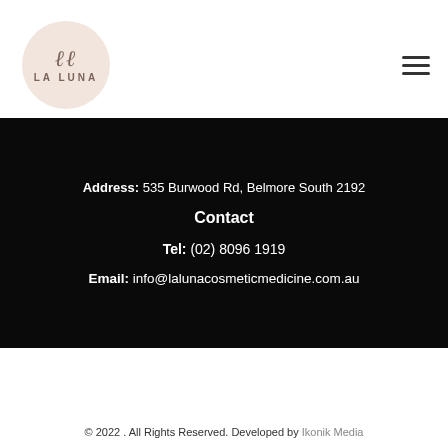[Figure (logo): La Luna circular logo with script initials and text LA LUNA on a blush/pink background]
Address: 535 Burwood Rd, Belmore South 2192
Contact
Tel: (02) 8096 1919
Email: info@lalunacosmeticmedicine.com.au
© 2022 . All Rights Reserved. Developed by Ikonik Media